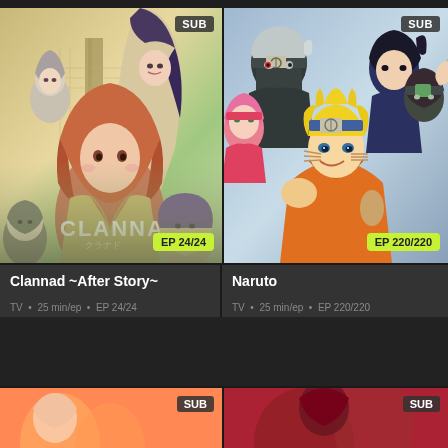[Figure (illustration): Clannad anime cover art showing multiple female anime characters in school uniforms with CLANNAD text overlay, SUB badge top-right, EP 24/24 badge bottom-right]
SUB
EP 24/24
Clannad ~After Story~
TV • 25 min/ep • EP 24/24
[Figure (illustration): Naruto anime cover art showing Naruto, Sasuke, Sakura, Kakashi and other ninja characters in action poses, SUB badge top-right, EP 220/220 badge bottom-right]
SUB
EP 220/220
Naruto
TV • 25 min/ep • EP 220/220
[Figure (illustration): Partial anime card bottom-left with orange/coral background and SUB badge]
SUB
[Figure (illustration): Partial anime card bottom-right with dark red background and SUB badge]
SUB